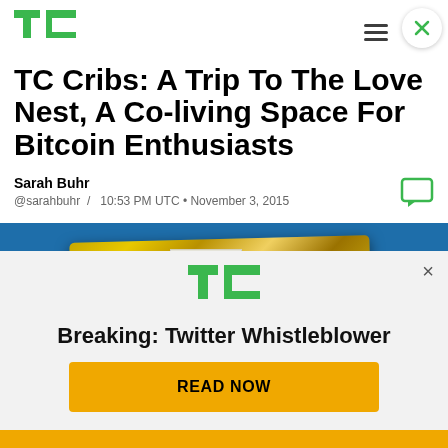TechCrunch
TC Cribs: A Trip To The Love Nest, A Co-living Space For Bitcoin Enthusiasts
Sarah Buhr
@sarahbuhr  /  10:53 PM UTC • November 3, 2015
[Figure (photo): Photo of a gold bar on a blue surface]
[Figure (logo): TechCrunch TC logo in green]
Breaking: Twitter Whistleblower
READ NOW